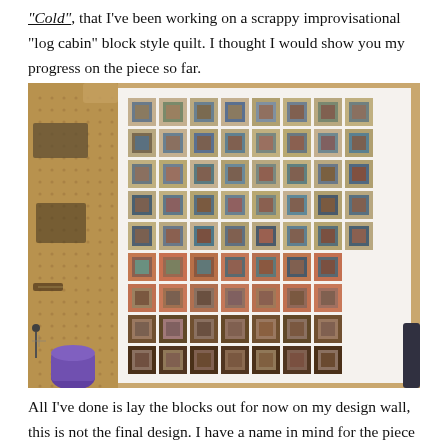“Cold”, that I’ve been working on a scrappy improvisational “log cabin” block style quilt. I thought I would show you my progress on the piece so far.
[Figure (photo): A photo of a quilt work-in-progress laid out on a design wall. The quilt features log cabin blocks arranged in a grid pattern. The top rows use neutral tan/beige and blue-grey fabrics, while the lower rows transition to warmer terracotta/brown tones and finally dark brown blocks at the bottom. A pegboard with tools is visible on the left side. The quilt is pinned to a white fabric design wall.]
All I’ve done is lay the blocks out for now on my design wall, this is not the final design. I have a name in mind for the piece